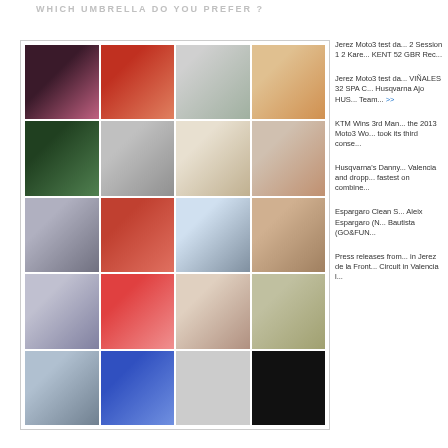WHICH UMBRELLA DO YOU PREFER ?
[Figure (photo): Grid of motorsport grid girls / umbrella girls photos arranged in a 4-column, 5-row mosaic layout]
Jerez Moto3 test da... 2 Session 1 2 Kare... KENT 52 GBR Rec...
Jerez Moto3 test da... VIÑALES 32 SPA C... Husqvarna Ajo HUS... Team... >>
KTM Wins 3rd Man... the 2013 Moto3 Wo... took its third conse...
Husqvarna's Danny... Valencia and dropp... fastest on combine...
Espargaro Clean S... Aleix Espargaro (N... Bautista (GO&FUN...
Press releases from... in Jerez de la Front... Circuit in Valencia l...